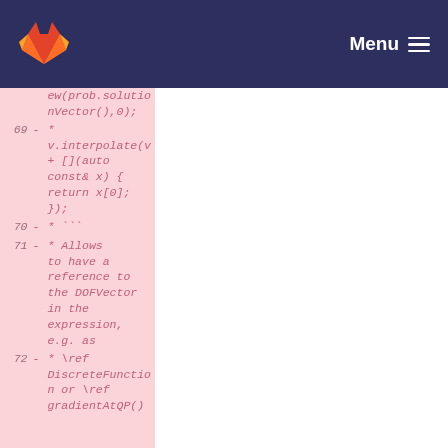Menu
[Figure (screenshot): GitLab navigation bar with logo and Menu button on dark navy background]
Code diff showing removed lines 69-72 in a C++ source file. Line 69: - * v.interpolate(v + [](auto const& x) { return x[0]; }); Line 70: - * ``` Line 71: - * Allows to have a reference to the DOFVector in the expression, e.g. as Line 72: - * \ref DiscreteFunction or \ref gradientAtQP()